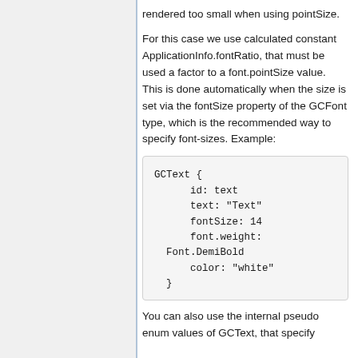rendered too small when using pointSize.
For this case we use calculated constant ApplicationInfo.fontRatio, that must be used a factor to a font.pointSize value. This is done automatically when the size is set via the fontSize property of the GCFont type, which is the recommended way to specify font-sizes. Example:
GCText {
    id: text
    text: "Text"
    fontSize: 14
    font.weight:
Font.DemiBold
    color: "white"
}
You can also use the internal pseudo enum values of GCText, that specify